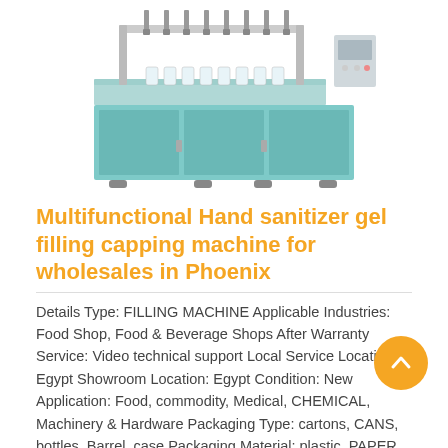[Figure (photo): Industrial multifunctional hand sanitizer gel filling and capping machine with multiple nozzles on a metal frame, shown on white background]
Multifunctional Hand sanitizer gel filling capping machine for wholesales in Phoenix
Details Type: FILLING MACHINE Applicable Industries: Food Shop, Food & Beverage Shops After Warranty Service: Video technical support Local Service Location: Egypt Showroom Location: Egypt Condition: New Application: Food, commodity, Medical, CHEMICAL, Machinery & Hardware Packaging Type: cartons, CANS, bottles, Barrel, case Packaging Material: plastic, PAPER, Metal, glass, wood Automatic Grade: Automatic Driven Type: Electric Vol 220v Brand Name: Npack ...
Read More